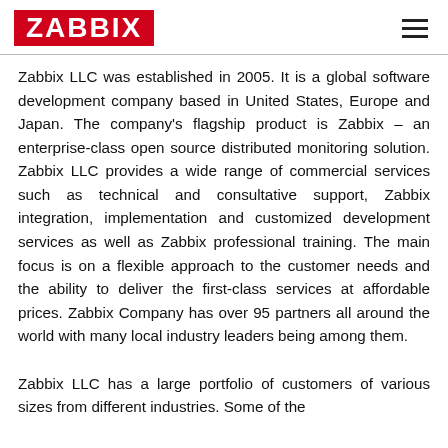ZABBIX
Zabbix LLC was established in 2005. It is a global software development company based in United States, Europe and Japan. The company's flagship product is Zabbix – an enterprise-class open source distributed monitoring solution. Zabbix LLC provides a wide range of commercial services such as technical and consultative support, Zabbix integration, implementation and customized development services as well as Zabbix professional training. The main focus is on a flexible approach to the customer needs and the ability to deliver the first-class services at affordable prices. Zabbix Company has over 95 partners all around the world with many local industry leaders being among them.
Zabbix LLC has a large portfolio of customers of various sizes from different industries. Some of the